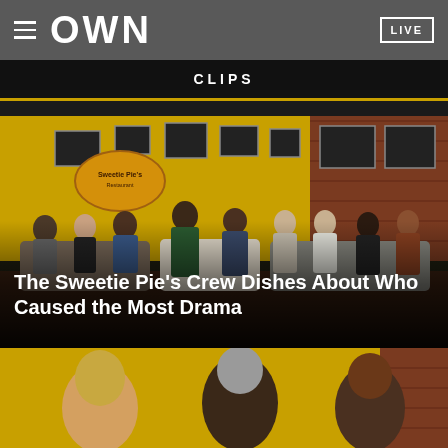OWN  LIVE
CLIPS
[Figure (screenshot): TV studio scene showing the Sweetie Pie's cast and crew seated on couches in a reunion-style setting with yellow walls, framed photos, and brick accents. Multiple people are seated including men and women in various outfits.]
The Sweetie Pie's Crew Dishes About Who Caused the Most Drama
[Figure (photo): Partial view of another video thumbnail showing three people (bottom portions visible) against a yellow and brick background.]